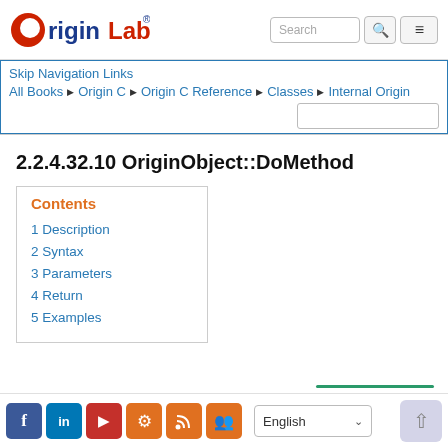[Figure (logo): OriginLab logo with red circle O, blue 'rigin' and red 'Lab' text with registered trademark symbol]
Skip Navigation Links
All Books ▶ Origin C ▶ Origin C Reference ▶ Classes ▶ Internal Origin
2.2.4.32.10 OriginObject::DoMethod
Contents
1 Description
2 Syntax
3 Parameters
4 Return
5 Examples
Social icons: Facebook, LinkedIn, YouTube, Settings, RSS, Group | English language selector | Back to top button